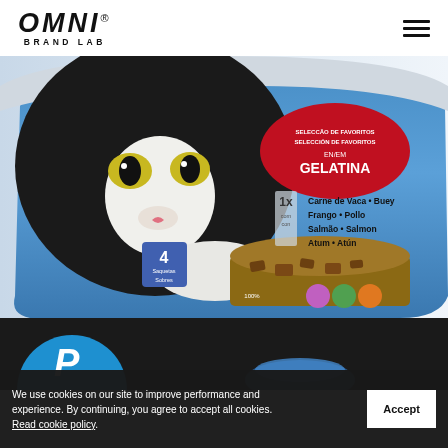[Figure (logo): OMNI BRAND LAB logo in black bold italic letters with registered trademark symbol]
[Figure (photo): Cat food product packaging - Purina Felix multipack in gelatina with black and white cat image. Text on pack: SELECCAO DE FAVORITOS / SELECCION DE FAVORITOS / EN/EM GELATINA / 1x Carne de Vaca • Buey / Frango • Pollo / Salmão • Salmon / Atum • Atún / 4 Saquetas Sobres / 100% das necessidades diárias]
[Figure (screenshot): Partial view of another product image at the bottom - dark background with blue circular logo partially visible]
We use cookies on our site to improve performance and experience. By continuing, you agree to accept all cookies. Read cookie policy.
Accept